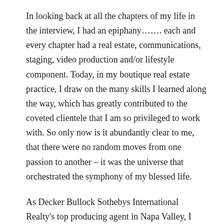In looking back at all the chapters of my life in the interview, I had an epiphany……. each and every chapter had a real estate, communications, staging, video production and/or lifestyle component.  Today, in my boutique real estate practice, I draw on the many skills I learned along the way, which has greatly contributed to the coveted clientele that I am so privileged to work with.  So only now is it abundantly clear to me, that there were no random moves from one passion to another – it was the universe that orchestrated the symphony of my blessed life.
As Decker Bullock Sothebys International Realty's top producing agent in Napa Valley, I have access to some extraordinary wineries, vineyards, estates and vacation homes that are not on the open market.  You can reach me at (707) 738 4820 or